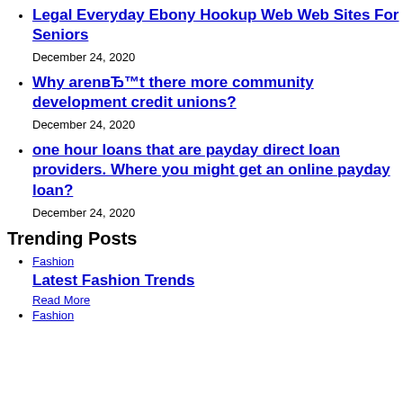Legal Everyday Ebony Hookup Web Web Sites For Seniors
December 24, 2020
Why arenвЂ™t there more community development credit unions?
December 24, 2020
one hour loans that are payday direct loan providers. Where you might get an online payday loan?
December 24, 2020
Trending Posts
Fashion
Latest Fashion Trends
Read More
Fashion